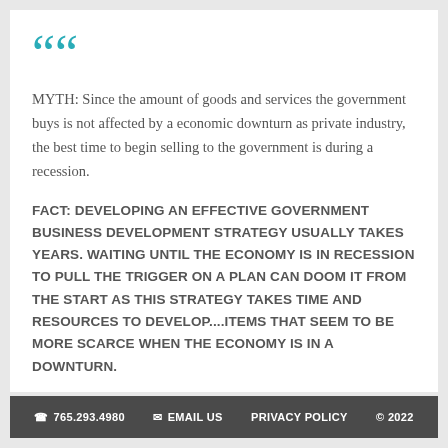MYTH: Since the amount of goods and services the government buys is not affected by a economic downturn as private industry, the best time to begin selling to the government is during a recession.
FACT: DEVELOPING AN EFFECTIVE GOVERNMENT BUSINESS DEVELOPMENT STRATEGY USUALLY TAKES YEARS. WAITING UNTIL THE ECONOMY IS IN RECESSION TO PULL THE TRIGGER ON A PLAN CAN DOOM IT FROM THE START AS THIS STRATEGY TAKES TIME AND RESOURCES TO DEVELOP....ITEMS THAT SEEM TO BE MORE SCARCE WHEN THE ECONOMY IS IN A DOWNTURN.
765.293.4980   EMAIL US   PRIVACY POLICY   © 2022